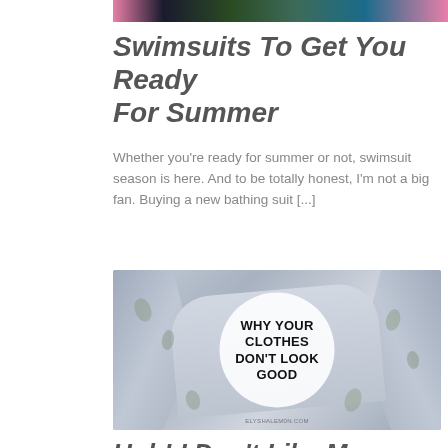[Figure (photo): Partial top image showing colorful swimsuit fabrics with floral patterns in pink, dark navy, green, and blue tones]
Swimsuits To Get You Ready For Summer
Whether you're ready for summer or not, swimsuit season is here. And to be totally honest, I'm not a big fan. Buying a new bathing suit [...]
[Figure (photo): Photo of floral fabric (light blue/grey with botanical print) with a white circle badge overlay reading WHY YOUR CLOTHES DON'T LOOK GOOD in bold black uppercase text. Watermark ELYSHA.LEMON.COM at bottom.]
Ugh! I Don't Like My Clothes